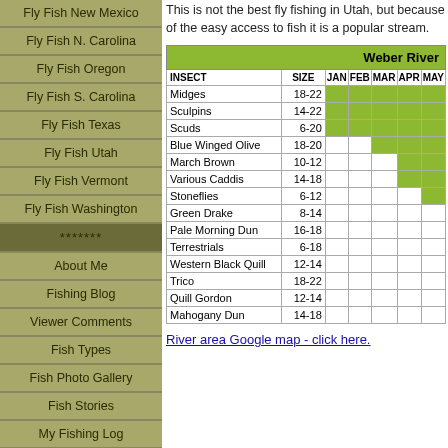Fly Fish New Mexico
Fly Fish N. Carolina
Fly Fish Oregon
Fly Fish S. Carolina
Fly Fish Texas
Fly Fish Utah
Fly Fish Vermont
Fly Fish Washington
*******
About Me
Fishing Blog
Viewer Comments
Fish Types
Fish Photo Gallery
Fish Stories
My Fishing Log
Advertise With Us
This is not the best fly fishing in Utah, but because of the easy access to fish it is a popular stream.
| INSECT | SIZE | JAN | FEB | MAR | APR | MAY |
| --- | --- | --- | --- | --- | --- | --- |
| Midges | 18-22 | G | G | G | G | G |
| Sculpins | 14-22 | G | G | G | G | G |
| Scuds | 6-20 | G | G | G | G | G |
| Blue Winged Olive | 18-20 |  |  | G | G | G |
| March Brown | 10-12 |  |  |  | G | G |
| Various Caddis | 14-18 |  |  |  | G | G |
| Stoneflies | 6-12 |  |  |  |  | G |
| Green Drake | 8-14 |  |  |  |  |  |
| Pale Morning Dun | 16-18 |  |  |  |  |  |
| Terrestrials | 6-18 |  |  |  |  |  |
| Western Black Quill | 12-14 |  |  |  |  |  |
| Trico | 18-22 |  |  |  |  |  |
| Quill Gordon | 12-14 |  |  |  |  |  |
| Mahogany Dun | 14-18 |  |  |  |  |  |
River area Google map - click here.